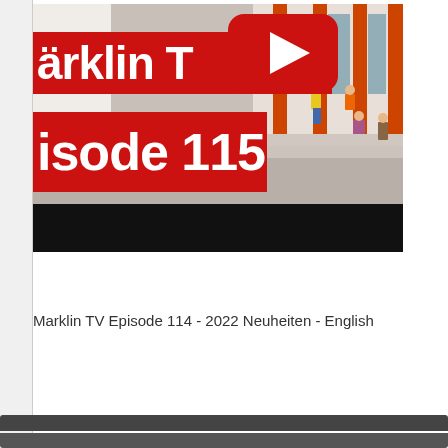[Figure (screenshot): YouTube video thumbnail for Märklin TV Episode 115. Shows red banners with white bold text reading 'ärklin T' and 'isode 115', a YouTube play button icon in red/white, and a scene with miniature figures of people near a building with orange-red columns. A black progress bar is at the bottom of the thumbnail.]
Marklin TV Episode 114 - 2022 Neuheiten - English